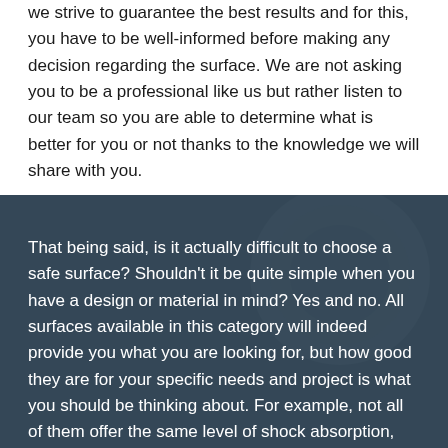we strive to guarantee the best results and for this, you have to be well-informed before making any decision regarding the surface. We are not asking you to be a professional like us but rather listen to our team so you are able to determine what is better for you or not thanks to the knowledge we will share with you.
[Figure (photo): Dark bluish-gray background photo showing what appears to be a surface material close-up, serving as background for the bottom text section.]
That being said, is it actually difficult to choose a safe surface? Shouldn't it be quite simple when you have a design or material in mind? Yes and no. All surfaces available in this category will indeed provide you what you are looking for, but how good they are for your specific needs and project is what you should be thinking about. For example, not all of them offer the same level of shock absorption, which means that if you are looking for one that can reduce harm from falls up to 12 feet or more, you